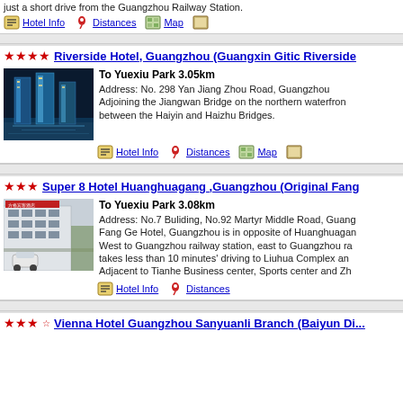just a short drive from the Guangzhou Railway Station.
Hotel Info | Distances | Map
★★★★ Riverside Hotel, Guangzhou (Guangxin Gitic Riverside
[Figure (photo): Photo of Riverside Hotel Guangzhou showing illuminated skyscrapers at night reflected in water]
To Yuexiu Park 3.05km
Address: No. 298 Yan Jiang Zhou Road, Guangzhou
Adjoining the Jiangwan Bridge on the northern waterfront between the Haiyin and Haizhu Bridges.
Hotel Info | Distances | Map
★★★ Super 8 Hotel Huanghuagang ,Guangzhou (Original Fang
[Figure (photo): Photo of Super 8 Hotel building exterior with cars parked outside]
To Yuexiu Park 3.08km
Address: No.7 Buliding, No.92 Martyr Middle Road, Guang...
Fang Ge Hotel, Guangzhou is in opposite of Huanghuagan...
West to Guangzhou railway station, east to Guangzhou ra...
takes less than 10 minutes' driving to Liuhua Complex an...
Adjacent to Tianhe Business center, Sports center and Zh...
Hotel Info | Distances
★★★☆ Vienna Hotel Guangzhou Sanyuanli Branch (Baiyun Di...